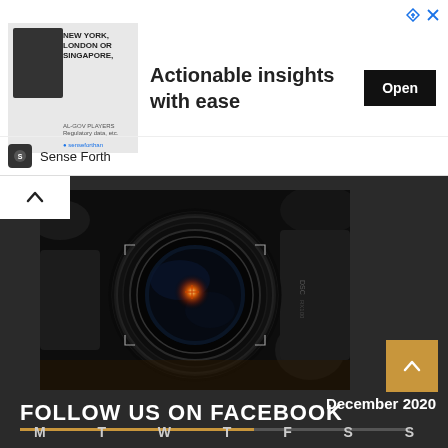[Figure (screenshot): Advertisement banner with a person photo, text 'NEW YORK, LONDON OR SINGAPORE', main text 'Actionable insights with ease', Open button, and 'Sense Forth' brand logo]
[Figure (photo): Close-up photo of a camera lens with orange-gold light reflecting off the lens center, dark background]
FOLLOW US ON FACEBOOK
December 2020
M  T  W  T  F  S  S